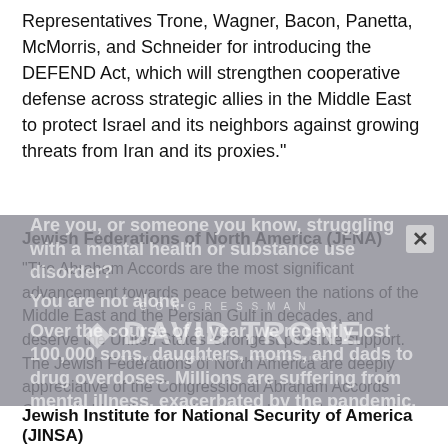Representatives Trone, Wagner, Bacon, Panetta, McMorris, and Schneider for introducing the DEFEND Act, which will strengthen cooperative defense across strategic allies in the Middle East to protect Israel and its neighbors against growing threats from Iran and its proxies."
Jewish Federations of North America (JFNA)
"The Abraham Accords are the most significant advancement towards peace between the nations of the Middle East and the Persian Gulf in decades, and deserve the United States' strongest possible support. The Jewish Federations of North America are deeply appreciative of the Congressional Abraham Accords Caucus's bipartisan leadership and strongly support its effort to expand and fortify the meaningful relationships between Israel and its neighbors. We look forward to the valuable recommendations this legislation will produce to expand those relationships beyond the realm of economic cooperation and into both shared threats and U.S. strategic interests in the region."
Jewish Institute for National Security of America (JINSA)